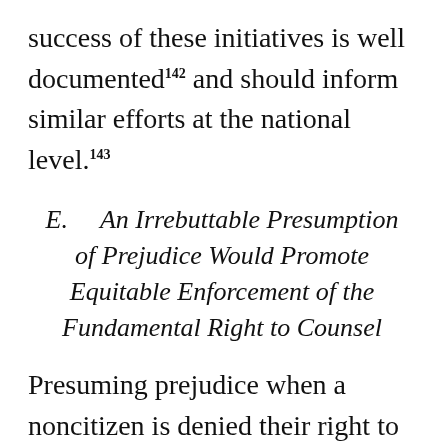success of these initiatives is well documented 142 and should inform similar efforts at the national level. 143
E. An Irrebuttable Presumption of Prejudice Would Promote Equitable Enforcement of the Fundamental Right to Counsel
Presuming prejudice when a noncitizen is denied their right to counsel in removal proceedings would advance equal access to justice. The right to counsel is not premised on the strength of a noncitizen’s case. Therefore, relief when counsel is denied should not hinge on their ability to detail